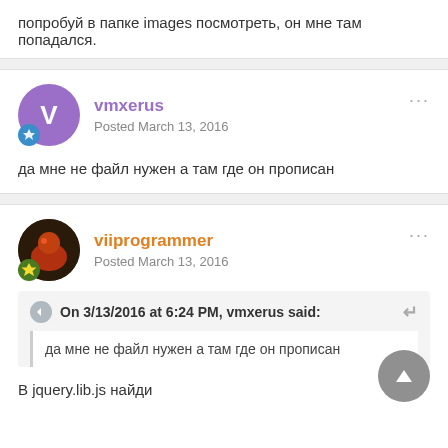попробуй в папке images посмотреть, он мне там попадался.
vmxerus
Posted March 13, 2016

да мне не файл нужен а там где он прописан
viiprogrammer
Posted March 13, 2016

On 3/13/2016 at 6:24 PM, vmxerus said:
да мне не файл нужен а там где он прописан

В jquery.lib.js найди